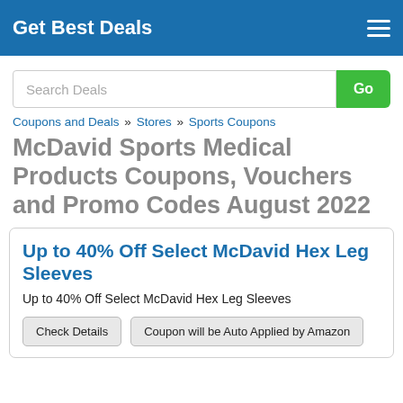Get Best Deals
Search Deals
Coupons and Deals » Stores » Sports Coupons
McDavid Sports Medical Products Coupons, Vouchers and Promo Codes August 2022
Up to 40% Off Select McDavid Hex Leg Sleeves
Up to 40% Off Select McDavid Hex Leg Sleeves
Check Details   Coupon will be Auto Applied by Amazon